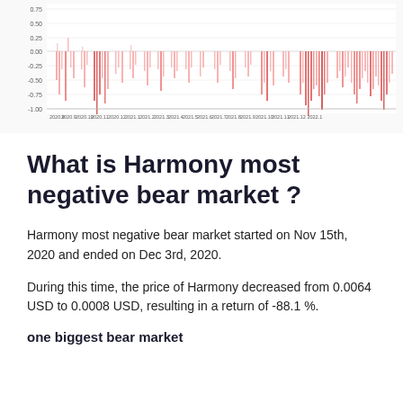[Figure (continuous-plot): Time series chart showing Harmony daily returns from 2020.9 to 2022.1. Y-axis ranges from -1.00 to 0.75, with pink/red bars showing mostly negative returns. X-axis shows dates: 2020.9, 2020.9, 2020.10, 2020.11, 2020.12, 2021.1, 2021.2, 2021.3, 2021.4, 2021.5, 2021.6, 2021.7, 2021.8, 2021.9, 2021.10, 2021.11, 2021.12, 2022.1]
What is Harmony most negative bear market ?
Harmony most negative bear market started on Nov 15th, 2020 and ended on Dec 3rd, 2020.
During this time, the price of Harmony decreased from 0.0064 USD to 0.0008 USD, resulting in a return of -88.1 %.
one biggest bear market